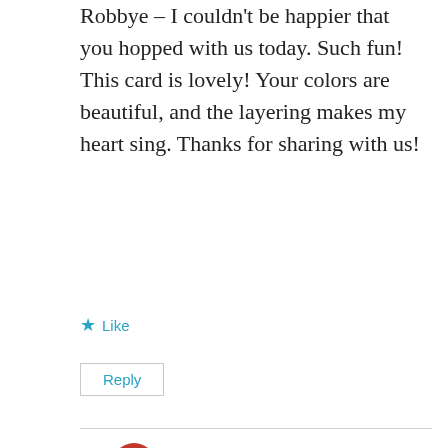Robbye – I couldn't be happier that you hopped with us today. Such fun! This card is lovely! Your colors are beautiful, and the layering makes my heart sing. Thanks for sharing with us!
Like
Reply
Miss Hammie's Crafts
August 23, 2017 at 8:57 am
Thanks so much Brian, hopping was fun. As fas the layering I learned from the GOAT, Brian King.